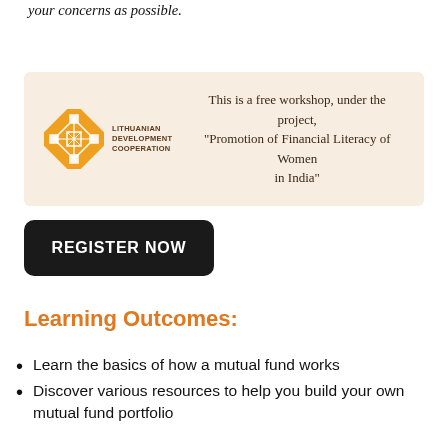your concerns as possible.
[Figure (logo): Lithuanian Development Cooperation logo (orange diamond with white geometric pattern) alongside the text 'LITHUANIAN DEVELOPMENT COOPERATION' and a banner stating: This is a free workshop, under the project, "Promotion of Financial Literacy of Women in India"]
REGISTER NOW
Learning Outcomes:
Learn the basics of how a mutual fund works
Discover various resources to help you build your own mutual fund portfolio